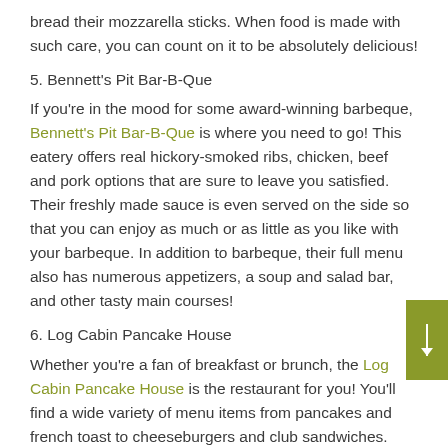bread their mozzarella sticks. When food is made with such care, you can count on it to be absolutely delicious!
5. Bennett's Pit Bar-B-Que
If you're in the mood for some award-winning barbeque, Bennett's Pit Bar-B-Que is where you need to go! This eatery offers real hickory-smoked ribs, chicken, beef and pork options that are sure to leave you satisfied. Their freshly made sauce is even served on the side so that you can enjoy as much or as little as you like with your barbeque. In addition to barbeque, their full menu also has numerous appetizers, a soup and salad bar, and other tasty main courses!
6. Log Cabin Pancake House
Whether you're a fan of breakfast or brunch, the Log Cabin Pancake House is the restaurant for you! You'll find a wide variety of menu items from pancakes and french toast to cheeseburgers and club sandwiches. They also have a hot